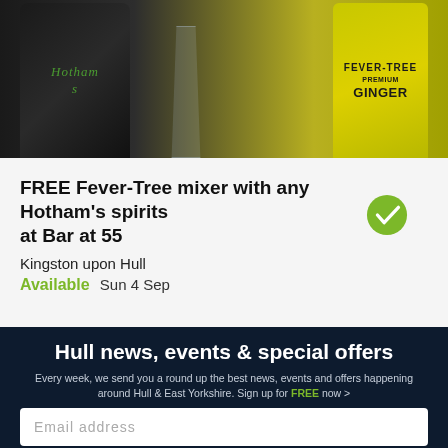[Figure (photo): Photo of a dark bottle of Hotham's spirits, a champagne flute glass, and a yellow bottle of Fever-Tree Premium Ginger mixer on a dark background.]
FREE Fever-Tree mixer with any Hotham's spirits at Bar at 55
Kingston upon Hull
Available Sun 4 Sep
Hull news, events & special offers
Every week, we send you a round up the best news, events and offers happening around Hull & East Yorkshire. Sign up for FREE now >
Email address
SUBSCRIBE NOW